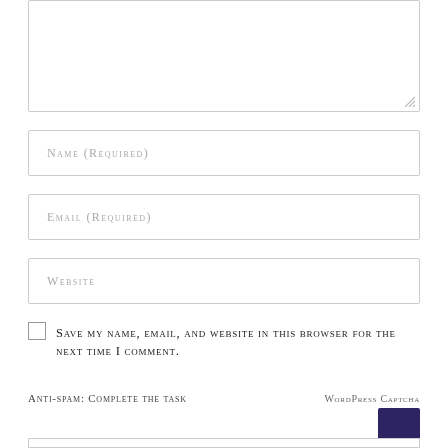[Figure (screenshot): Textarea input field with resize handle at bottom-right, partially shown at top of page]
Name (Required)
Email (Required)
Website
Save my name, email, and website in this browser for the next time I comment.
Anti-spam: Complete the task
WordPress Captcha
[Figure (screenshot): Purple/dark blue square CAPTCHA widget box]
[Figure (screenshot): Input field at the bottom, partially cut off]